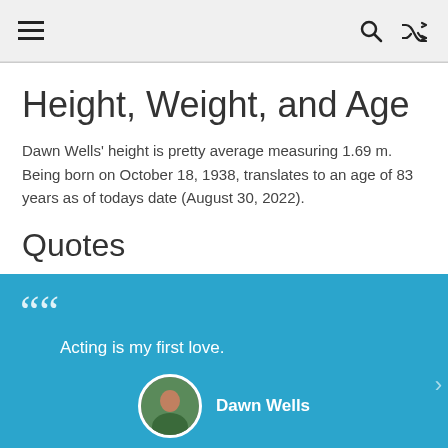☰  🔍  🔀
Height, Weight, and Age
Dawn Wells' height is pretty average measuring 1.69 m. Being born on October 18, 1938, translates to an age of 83 years as of todays date (August 30, 2022).
Quotes
Acting is my first love.
Dawn Wells